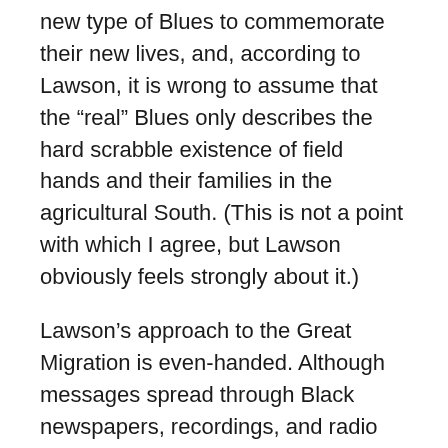new type of Blues to commemorate their new lives, and, according to Lawson, it is wrong to assume that the “real” Blues only describes the hard scrabble existence of field hands and their families in the agricultural South. (This is not a point with which I agree, but Lawson obviously feels strongly about it.)
Lawson’s approach to the Great Migration is even-handed. Although messages spread through Black newspapers, recordings, and radio programs offered hope to African Americans still trapped in the Jim Crow South, those who had fled the region for the purported Eden of Chicago and points east did not exactly find themselves in Nirvana: instead of the “Promised Land” of freedom and opportunity, they encountered segregated housing, economic discrimination in hiring, and racial violence. Yet, while Big Bill Broonzy might sing about “Going Back to